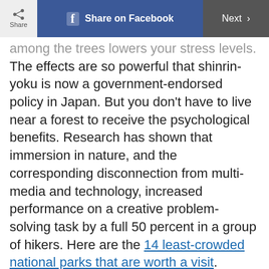Share | Share on Facebook | Next >
among the trees lowers your stress levels. The effects are so powerful that shinrin-yoku is now a government-endorsed policy in Japan. But you don't have to live near a forest to receive the psychological benefits. Research has shown that immersion in nature, and the corresponding disconnection from multi-media and technology, increased performance on a creative problem-solving task by a full 50 percent in a group of hikers. Here are the 14 least-crowded national parks that are worth a visit.
So instead of setting a fitness goal, why